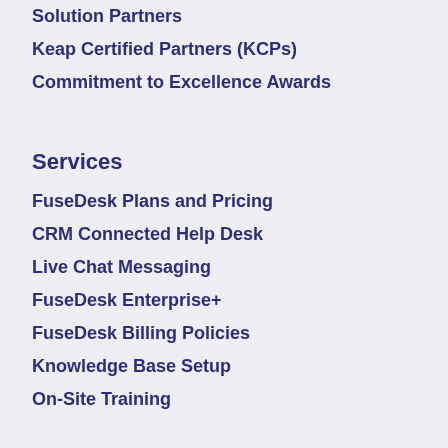Solution Partners
Keap Certified Partners (KCPs)
Commitment to Excellence Awards
Services
FuseDesk Plans and Pricing
CRM Connected Help Desk
Live Chat Messaging
FuseDesk Enterprise+
FuseDesk Billing Policies
Knowledge Base Setup
On-Site Training